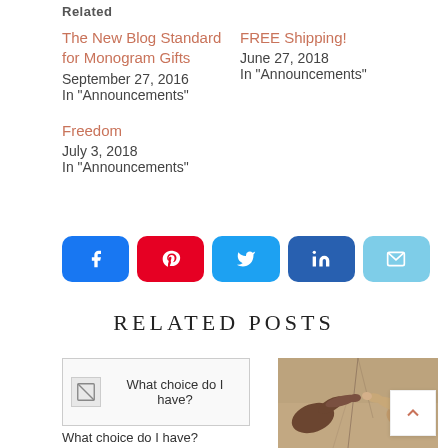Related
The New Blog Standard for Monogram Gifts
September 27, 2016
In "Announcements"
FREE Shipping!
June 27, 2018
In "Announcements"
Freedom
July 3, 2018
In "Announcements"
[Figure (other): Social sharing buttons: Facebook, Pinterest, Twitter, LinkedIn, Email]
RELATED POSTS
[Figure (other): Post thumbnail for 'What choice do I have?' with broken image icon]
What choice do I have?
[Figure (photo): Michelangelo's Creation of Adam detail showing two hands nearly touching]